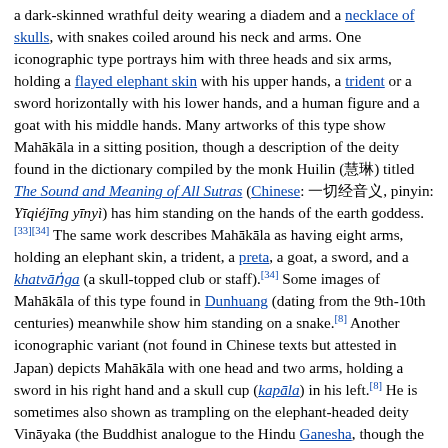a dark-skinned wrathful deity wearing a diadem and a necklace of skulls, with snakes coiled around his neck and arms. One iconographic type portrays him with three heads and six arms, holding a flayed elephant skin with his upper hands, a trident or a sword horizontally with his lower hands, and a human figure and a goat with his middle hands. Many artworks of this type show Mahākāla in a sitting position, though a description of the deity found in the dictionary compiled by the monk Huilin (慧琳) titled The Sound and Meaning of All Sutras (Chinese: 一切经音义, pinyin: Yīqiéjīng yīnyì) has him standing on the hands of the earth goddess.[33][34] The same work describes Mahākāla as having eight arms, holding an elephant skin, a trident, a preta, a goat, a sword, and a khatvāṅga (a skull-topped club or staff).[34] Some images of Mahākāla of this type found in Dunhuang (dating from the 9th-10th centuries) meanwhile show him standing on a snake.[8] Another iconographic variant (not found in Chinese texts but attested in Japan) depicts Mahākāla with one head and two arms, holding a sword in his right hand and a skull cup (kapāla) in his left.[8] He is sometimes also shown as trampling on the elephant-headed deity Vināyaka (the Buddhist analogue to the Hindu Ganesha, though the Buddhist version is sometimes also perceived as a negative figure), another deity Mahākāla is associated with. Indeed, the two deities are shown together in the outer northeast (upper left) corner of the Womb Realm (Garbhadhātu) Mandala.